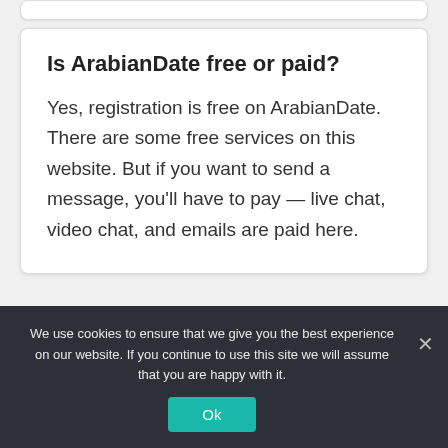Is ArabianDate free or paid?
Yes, registration is free on ArabianDate. There are some free services on this website. But if you want to send a message, you'll have to pay — live chat, video chat, and emails are paid here.
We use cookies to ensure that we give you the best experience on our website. If you continue to use this site we will assume that you are happy with it.